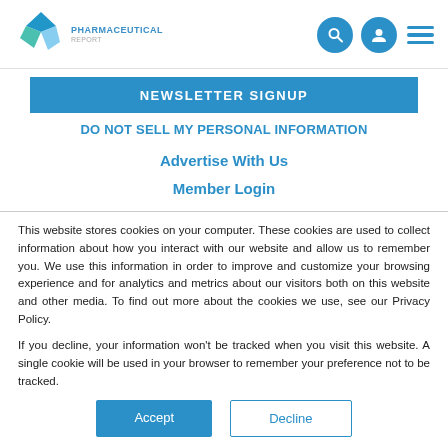[Figure (logo): Pharmaceutical Report logo with blue geometric diamond icon and text 'PHARMACEUTICAL REPORT']
NEWSLETTER SIGNUP
DO NOT SELL MY PERSONAL INFORMATION
Advertise With Us
Member Login
This website stores cookies on your computer. These cookies are used to collect information about how you interact with our website and allow us to remember you. We use this information in order to improve and customize your browsing experience and for analytics and metrics about our visitors both on this website and other media. To find out more about the cookies we use, see our Privacy Policy.
If you decline, your information won't be tracked when you visit this website. A single cookie will be used in your browser to remember your preference not to be tracked.